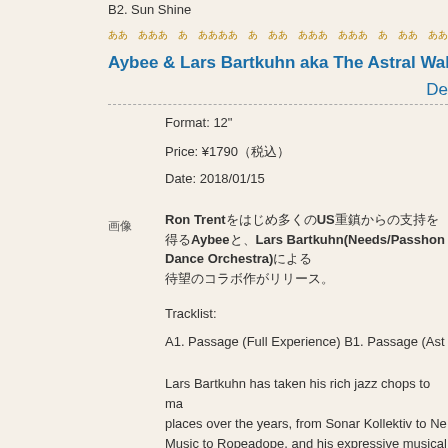B2. Sun Shine
Aybee & Lars Bartkuhn aka The Astral Walkers / Passage
De
Format: 12"
Price: ¥1790（税込）
Date: 2018/01/15
Ron Trentをはじめ多くのUS重鎮からの支持を得るAybeeと、Lars Bartkuhn(Needs/Passhon Dance Orchestra)による待望のコラボ作がリリース。
Tracklist:
A1. Passage (Full Experience) B1. Passage (Ast
Lars Bartkuhn has taken his rich jazz chops to many places over the years, from Sonar Kollektiv to Ne Music to Ropeadope, and his expressive musical perfectly with Aybee's cosmic electronic tendenci Deepblak joint, "Passage (Full Experience)" is a h